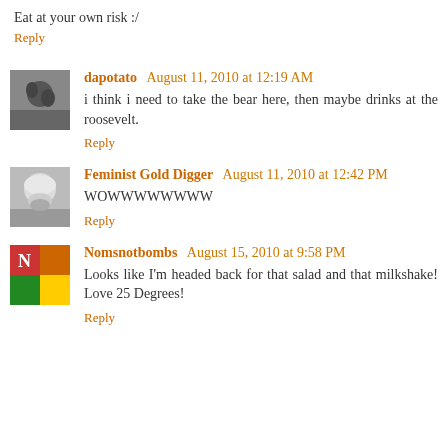Eat at your own risk :/
Reply
dapotato August 11, 2010 at 12:19 AM
i think i need to take the bear here, then maybe drinks at the roosevelt.
Reply
Feminist Gold Digger August 11, 2010 at 12:42 PM
WOWWWWWWWW
Reply
Nomsnotbombs August 15, 2010 at 9:58 PM
Looks like I'm headed back for that salad and that milkshake! Love 25 Degrees!
Reply